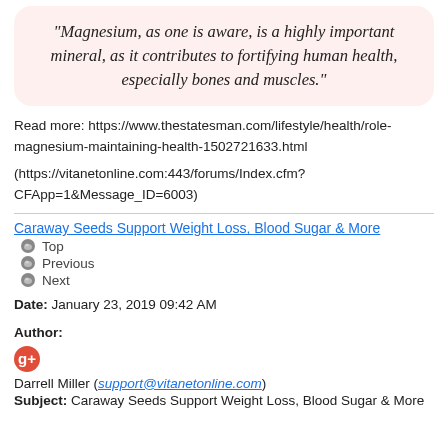"Magnesium, as one is aware, is a highly important mineral, as it contributes to fortifying human health, especially bones and muscles."
Read more: https://www.thestatesman.com/lifestyle/health/role-magnesium-maintaining-health-1502721633.html
(https://vitanetonline.com:443/forums/Index.cfm?CFApp=1&Message_ID=6003)
Caraway Seeds Support Weight Loss, Blood Sugar & More
Top
Previous
Next
Date: January 23, 2019 09:42 AM
Author:
Darrell Miller (support@vitanetonline.com)
Subject: Caraway Seeds Support Weight Loss, Blood Sugar & More